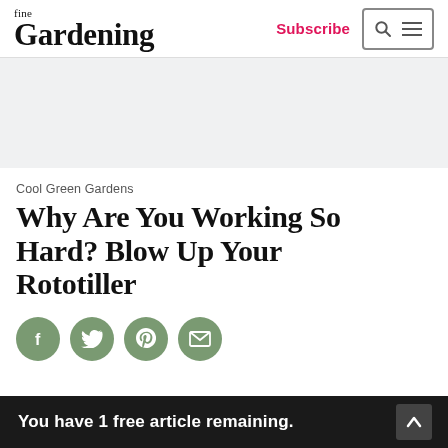fine Gardening
Subscribe
[Figure (other): Light gray advertisement banner area]
Cool Green Gardens
Why Are You Working So Hard? Blow Up Your Rototiller
[Figure (infographic): Social media share icons: Facebook, Twitter, Pinterest, Email — all in sage green circles]
You have 1 free article remaining.